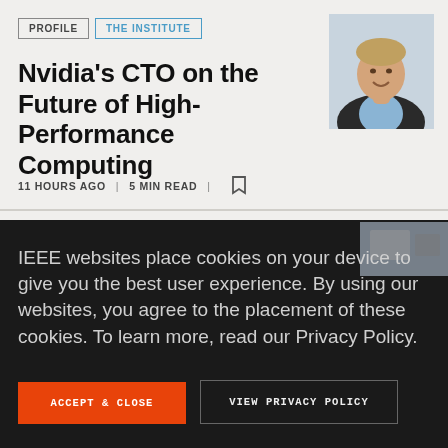PROFILE | THE INSTITUTE
[Figure (photo): Portrait photo of a middle-aged man in a dark blazer and light blue shirt, smiling, on a light background]
Nvidia's CTO on the Future of High-Performance Computing
11 HOURS AGO | 5 MIN READ | [bookmark icon]
[Figure (photo): Partial thumbnail image in dark section, upper right]
IEEE websites place cookies on your device to give you the best user experience. By using our websites, you agree to the placement of these cookies. To learn more, read our Privacy Policy.
ACCEPT & CLOSE
VIEW PRIVACY POLICY